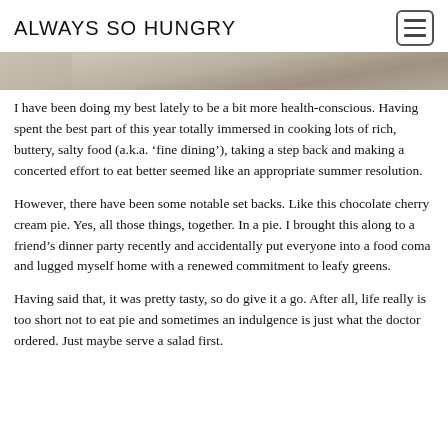ALWAYS SO HUNGRY
[Figure (photo): Partial photo strip showing a food/table scene, cropped at top of page]
I have been doing my best lately to be a bit more health-conscious.  Having spent the best part of this year totally immersed in cooking lots of rich, buttery, salty food (a.k.a. 'fine dining'), taking a step back and making a concerted effort to eat better seemed like an appropriate summer resolution.
However, there have been some notable set backs.  Like this chocolate cherry cream pie.  Yes, all those things, together.  In a pie.  I brought this along to a friend's dinner party recently and accidentally put everyone into a food coma and lugged myself home with a renewed commitment to leafy greens.
Having said that, it was pretty tasty, so do give it a go.  After all, life really is too short not to eat pie and sometimes an indulgence is just what the doctor ordered.  Just maybe serve a salad first.